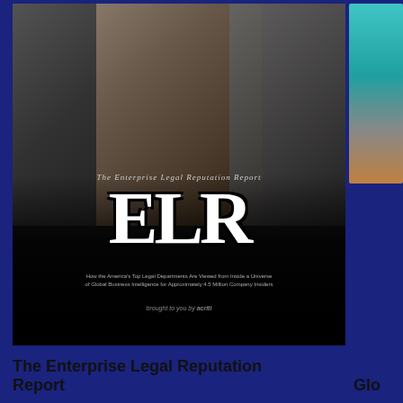[Figure (photo): Cover of 'The Enterprise Legal Reputation Report' (ELR) showing three business professionals (two men and one woman) in formal attire against a dark background with large 'ELR' lettering and subtitle text below.]
The Enterprise Legal Reputation Report
[Figure (photo): Partially visible second publication cover on the right edge, showing teal/turquoise colors. Title begins with 'Glo...' (truncated).]
Glo